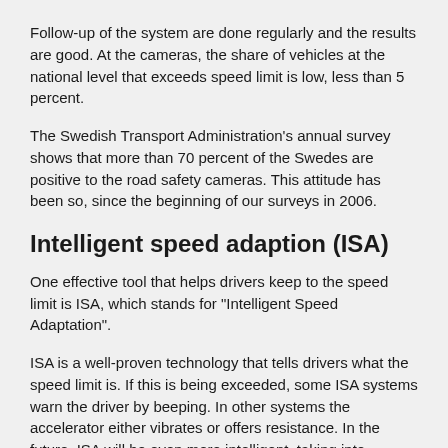Follow-up of the system are done regularly and the results are good. At the cameras, the share of vehicles at the national level that exceeds speed limit is low, less than 5 percent.
The Swedish Transport Administration's annual survey shows that more than 70 percent of the Swedes are positive to the road safety cameras. This attitude has been so, since the beginning of our surveys in 2006.
Intelligent speed adaption (ISA)
One effective tool that helps drivers keep to the speed limit is ISA, which stands for "Intelligent Speed Adaptation".
ISA is a well-proven technology that tells drivers what the speed limit is. If this is being exceeded, some ISA systems warn the driver by beeping. In other systems the accelerator either vibrates or offers resistance. In the future, ISA will be even more intelligent, taking into consideration such things as weather conditions or the traffic situation.